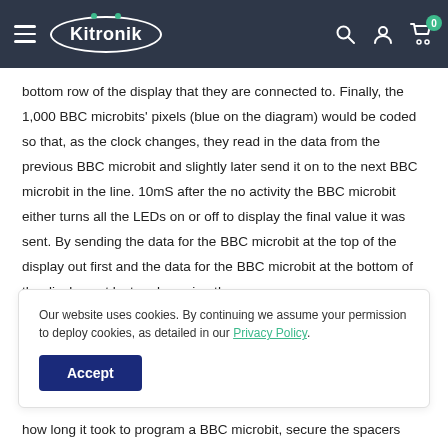Kitronik
bottom row of the display that they are connected to. Finally, the 1,000 BBC microbits' pixels (blue on the diagram) would be coded so that, as the clock changes, they read in the data from the previous BBC microbit and slightly later send it on to the next BBC microbit in the line. 10mS after the no activity the BBC microbit either turns all the LEDs on or off to display the final value it was sent. By sending the data for the BBC microbit at the top of the display out first and the data for the BBC microbit at the bottom of the display out last and passing the
Our website uses cookies. By continuing we assume your permission to deploy cookies, as detailed in our Privacy Policy.
how long it took to program a BBC microbit, secure the spacers